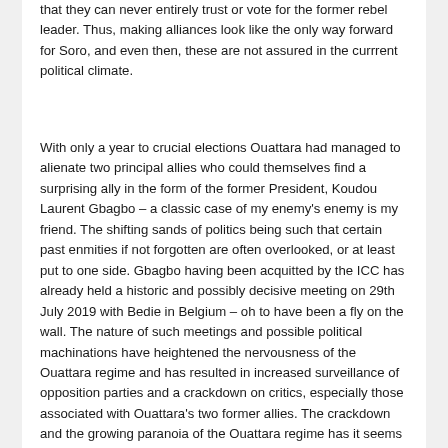that they can never entirely trust or vote for the former rebel leader. Thus, making alliances look like the only way forward for Soro, and even then, these are not assured in the currrent political climate.
With only a year to crucial elections Ouattara had managed to alienate two principal allies who could themselves find a surprising ally in the form of the former President, Koudou Laurent Gbagbo – a classic case of my enemy's enemy is my friend. The shifting sands of politics being such that certain past enmities if not forgotten are often overlooked, or at least put to one side. Gbagbo having been acquitted by the ICC has already held a historic and possibly decisive meeting on 29th July 2019 with Bedie in Belgium – oh to have been a fly on the wall. The nature of such meetings and possible political machinations have heightened the nervousness of the Ouattara regime and has resulted in increased surveillance of opposition parties and a crackdown on critics, especially those associated with Ouattara's two former allies. The crackdown and the growing paranoia of the Ouattara regime has it seems become a cause for